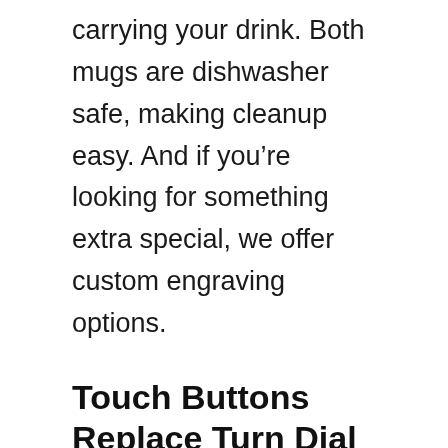carrying your drink. Both mugs are dishwasher safe, making cleanup easy. And if you’re looking for something extra special, we offer custom engraving options.
Touch Buttons Replace Turn Dial
Ember Travel Mugs now feature touch buttons instead of a traditional turn dial.